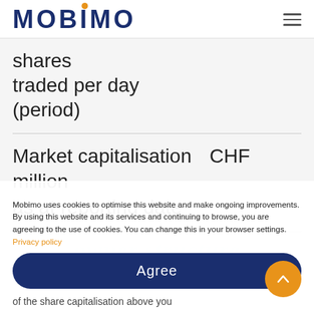MOBIMO
shares
traded per day
(period)
Market capitalisation    CHF million
as at reporting date
Mobimo uses cookies to optimise this website and make ongoing improvements. By using this website and its services and continuing to browse, you are agreeing to the use of cookies. You can change this in your browser settings. Privacy policy
Agree
of the share capitalisation above you